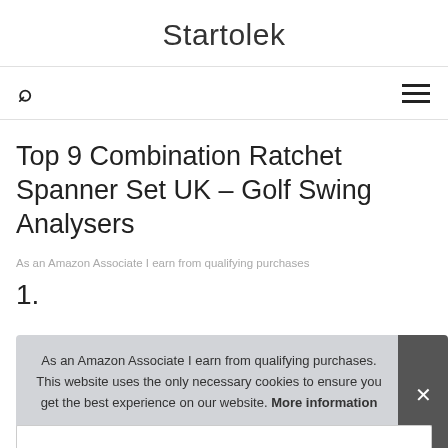Startolek
Top 9 Combination Ratchet Spanner Set UK – Golf Swing Analysers
As an Amazon Associate I earn from qualifying purchases
1.
As an Amazon Associate I earn from qualifying purchases. This website uses the only necessary cookies to ensure you get the best experience on our website. More information